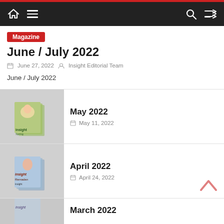Navigation bar with home, menu, search, and shuffle icons
Magazine
June / July 2022
June 27, 2022  Insight Editorial Team
June / July 2022
[Figure (photo): Thumbnail of Insight magazine covers for May 2022 showing a girl and a dog]
May 2022
May 11, 2022
[Figure (photo): Thumbnail of Insight magazine covers for April 2022 showing a woman with Ramadan themed cover]
April 2022
April 24, 2022
[Figure (photo): Partial thumbnail of Insight magazine for March 2022]
March 2022